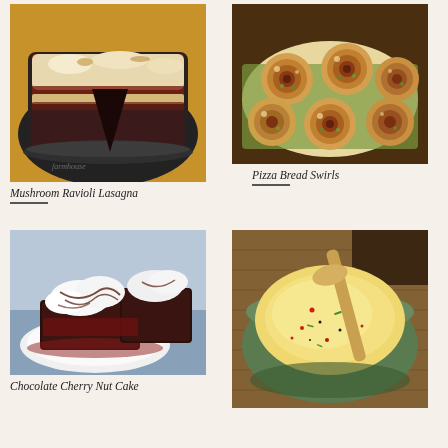[Figure (photo): A baked mushroom ravioli lasagna in a dark round casserole dish with melted cheese on top, on a wooden surface]
Mushroom Ravioli Lasagna
[Figure (photo): Pizza bread swirls - round rolled pizza pinwheels arranged on a serving tray, topped with cheese and herbs]
Pizza Bread Swirls
[Figure (photo): Chocolate cherry nut cake slice served on a white plate with whipped cream drizzled with chocolate sauce]
Chocolate Cherry Nut Cake
[Figure (photo): A creamy yellow soup or sauce in a green bowl with a wooden spoon, garnished with red pepper flakes and green herbs]